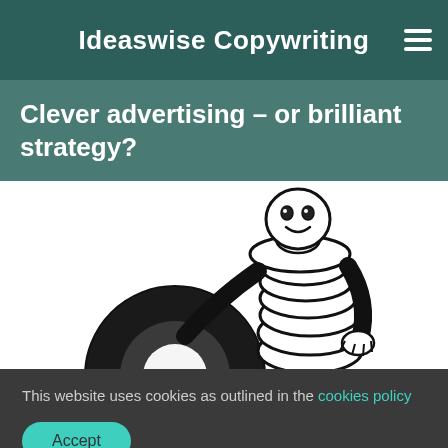Ideaswise Copywriting
Clever advertising – or brilliant strategy?
[Figure (illustration): The Michelin Man (Bibendum) mascot illustration in black and white outline, leaning on a tire]
This website uses cookies as outlined in the cookies policy
Accept